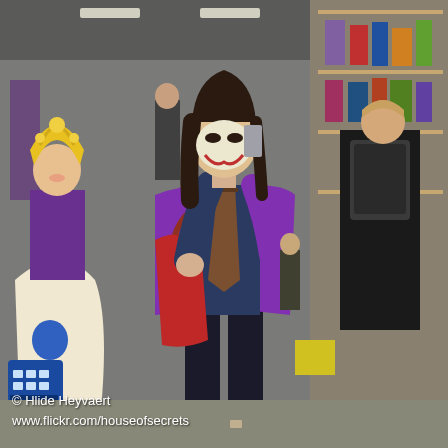[Figure (photo): A cosplay convention scene in what appears to be an indoor convention hall or shop. In the center stands a person dressed as The Joker, wearing a purple jacket, navy blue button-up shirt, a patterned tie, and black pants with white Converse sneakers. They have Joker-style face paint with a red smile. They carry a large red tote bag. To the left stands a person in an ornate colorful dress with a yellow headdress, holding a blue TARDIS (Doctor Who) bag. In the background are other convention-goers, including a person in black with a large backpack, and shelving with merchandise and collectibles. The setting has a grey concrete floor and industrial ceiling.]
© Hlide Heyvaert
www.flickr.com/houseofsecrets